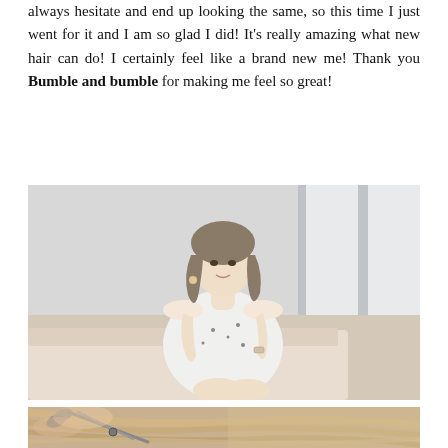always hesitate and end up looking the same, so this time I just went for it and I am so glad I did! It's really amazing what new hair can do! I certainly feel like a brand new me! Thank you Bumble and bumble for making me feel so great!
[Figure (photo): A young woman with short wavy hair sitting on a beige sofa, wearing a white floral off-shoulder dress, bright window background.]
[Figure (photo): Close-up of scissors cutting blonde/light brown hair, blurred background.]